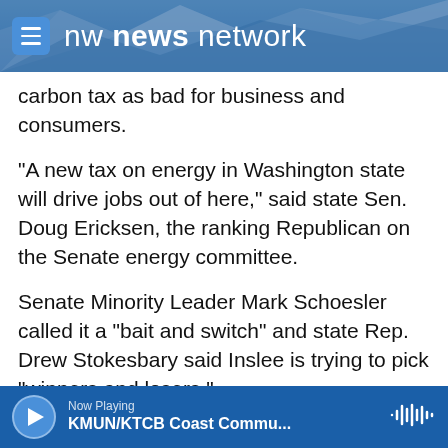nw news network
carbon tax as bad for business and consumers.
“A new tax on energy in Washington state will drive jobs out of here,” said state Sen. Doug Ericksen, the ranking Republican on the Senate energy committee.
Senate Minority Leader Mark Schoesler called it a “bait and switch” and state Rep. Drew Stokesbary said Inslee is trying to pick “winners and losers.”
“He wants a $1.5 billion slush fund that he can hand out to Solyndra 2.0 based in Sequim, Washington, or wherever so that he can continue to pick winners
Now Playing
KMUN/KTCB Coast Commu...